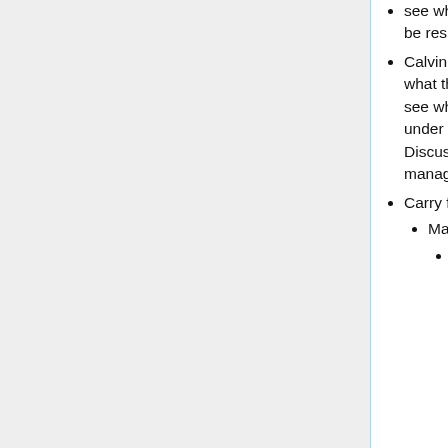see what they've been doing. If they went away, who would be responsible for those things.
Calvin: The other option is that we look at the overlap of what the product families do vs. the steering division and see what's left. And the other issue is WGs that don't fall under a product family – EMR, Arden, CDS, etc. Discussion over SGB – they make precepts for management groups.
Carry forward:
Management group health metrics
Should review their missions/charters as we begin